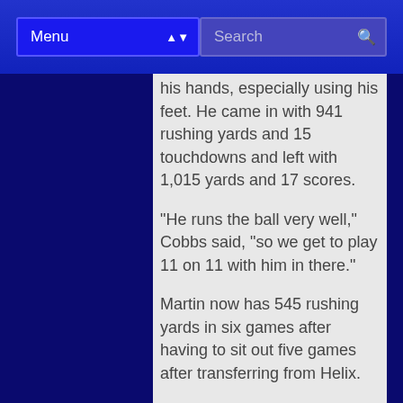Menu | Search
his hands, especially using his feet. He came in with 941 rushing yards and 15 touchdowns and left with 1,015 yards and 17 scores.
“He runs the ball very well,” Cobbs said, “so we get to play 11 on 11 with him in there.”
Martin now has 545 rushing yards in six games after having to sit out five games after transferring from Helix.
West Hills actually led this game 10-7 up until 2:40 remaining in the second quarter.
Granite Hills took the early lead, driving 50 yards in six plays on its first possession with Siegfried scoring on a 1-yard keeper after he had 19-yard pickup and Gonzalez a 10-yard gain.